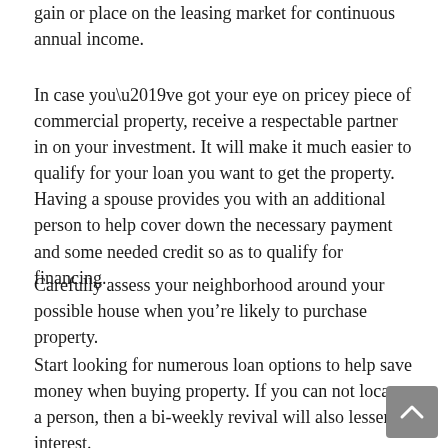gain or place on the leasing market for continuous annual income.
In case you’ve got your eye on pricey piece of commercial property, receive a respectable partner in on your investment. It will make it much easier to qualify for your loan you want to get the property. Having a spouse provides you with an additional person to help cover down the necessary payment and some needed credit so as to qualify for financing.
Carefully assess your neighborhood around your possible house when you’re likely to purchase property.
Start looking for numerous loan options to help save money when buying property. If you can not locate a person, then a bi-weekly revival will also lessen interest.